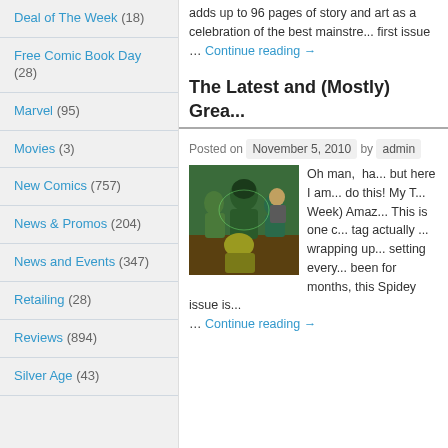Deal of The Week (18)
Free Comic Book Day (28)
Marvel (95)
Movies (3)
New Comics (757)
News & Promos (204)
News and Events (347)
Retailing (28)
Reviews (894)
Silver Age (43)
adds up to 96 pages of story and art as a celebration of the best mainstre... first issue … Continue reading →
The Latest and (Mostly) Grea...
Posted on November 5, 2010 by admin
[Figure (illustration): Comic book cover art showing multiple green-costumed villains including hooded figures and characters in battle poses]
Oh man, ha... but here I am... do this! My T... Week) Amaz... This is one c... tag actually ... wrapping up... setting every... been for months, this Spidey issue is... … Continue reading →